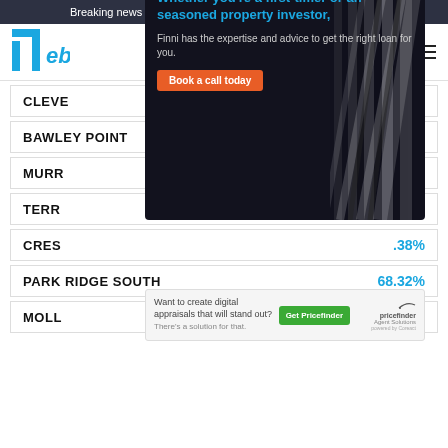Breaking news and updates daily. subscribe to our Newsletter!
Home of the REB Top 100 Agents
CLEVE 78.13%
BAWLEY POINT 76.2%
MURR .57%
TERR .70%
CRES .38%
PARK RIDGE SOUTH 68.32%
MOLL .09%
[Figure (advertisement): Finni mortgage broker ad: Whether you're a first-timer or an seasoned property investor, Finni has the expertise and advice to get the right loan for you. Book a call today.]
[Figure (advertisement): Pricefinder Agent Solutions ad: Want to create digital appraisals that will stand out? There's a solution for that. Get Pricefinder button.]